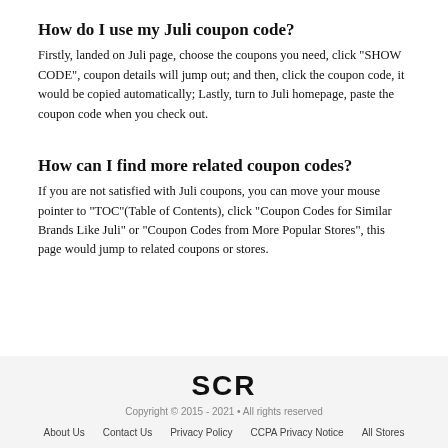How do I use my Juli coupon code?
Firstly, landed on Juli page, choose the coupons you need, click "SHOW CODE", coupon details will jump out; and then, click the coupon code, it would be copied automatically; Lastly, turn to Juli homepage, paste the coupon code when you check out.
How can I find more related coupon codes?
If you are not satisfied with Juli coupons, you can move your mouse pointer to "TOC"(Table of Contents), click "Coupon Codes for Similar Brands Like Juli" or "Coupon Codes from More Popular Stores", this page would jump to related coupons or stores.
[Figure (logo): SCR logo in bold black text]
Copyright © 2015 - 2021 • All rights reserved
About Us   Contact Us   Privacy Policy   CCPA Privacy Notice   All Stores